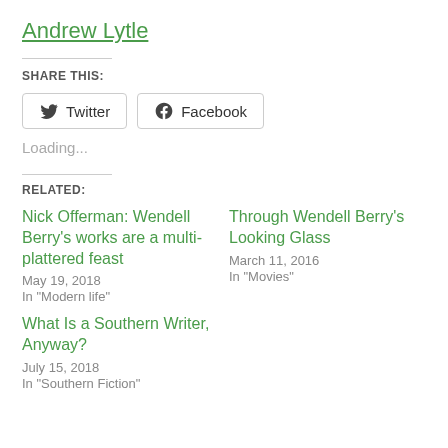Andrew Lytle
SHARE THIS:
Twitter  Facebook
Loading...
RELATED:
Nick Offerman: Wendell Berry's works are a multi-plattered feast
May 19, 2018
In "Modern life"
Through Wendell Berry's Looking Glass
March 11, 2016
In "Movies"
What Is a Southern Writer, Anyway?
July 15, 2018
In "Southern Fiction"